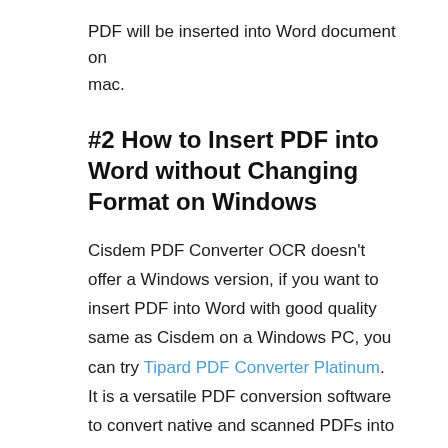PDF will be inserted into Word document on mac.
#2 How to Insert PDF into Word without Changing Format on Windows
Cisdem PDF Converter OCR doesn't offer a Windows version, if you want to insert PDF into Word with good quality same as Cisdem on a Windows PC, you can try Tipard PDF Converter Platinum. It is a versatile PDF conversion software to convert native and scanned PDFs into Word/Text/ePub/Image/HTML and others, users can preview PDF pages and select page range for conversion.
Steps to Insert PDF into Word on Windows